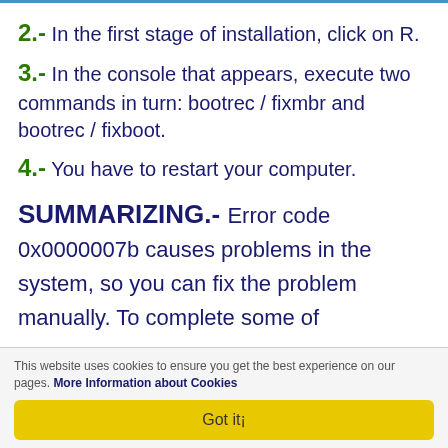2.- In the first stage of installation, click on R.
3.- In the console that appears, execute two commands in turn: bootrec / fixmbr and bootrec / fixboot.
4.- You have to restart your computer.
SUMMARIZING.- Error code 0x0000007b causes problems in the system, so you can fix the problem manually. To complete some of
This website uses cookies to ensure you get the best experience on our pages. More Information about Cookies
Got it¡